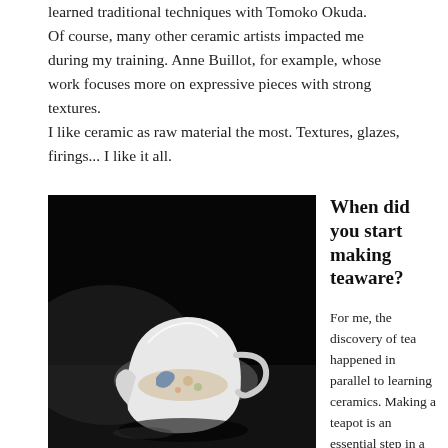learned traditional techniques with Tomoko Okuda. Of course, many other ceramic artists impacted me during my training. Anne Buillot, for example, whose work focuses more on expressive pieces with strong textures. I like ceramic as raw material the most. Textures, glazes, firings... I like it all.
[Figure (photo): Dark studio photograph of a white ceramic pitcher/creamer with painted decorative motifs (bird and floral design) on a dark surface with dramatic low-key lighting.]
When did you start making teaware?
For me, the discovery of tea happened in parallel to learning ceramics. Making a teapot is an essential step in a potter's journey